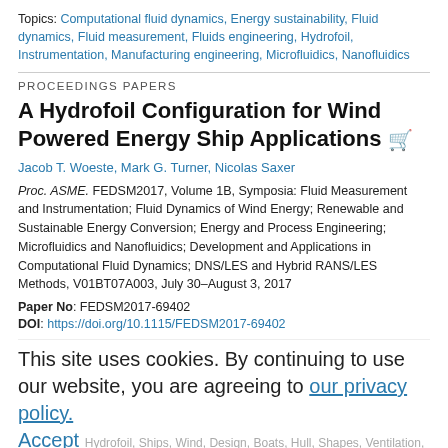Topics: Computational fluid dynamics, Energy sustainability, Fluid dynamics, Fluid measurement, Fluids engineering, Hydrofoil, Instrumentation, Manufacturing engineering, Microfluidics, Nanofluidics
PROCEEDINGS PAPERS
A Hydrofoil Configuration for Wind Powered Energy Ship Applications
Jacob T. Woeste, Mark G. Turner, Nicolas Saxer
Proc. ASME. FEDSM2017, Volume 1B, Symposia: Fluid Measurement and Instrumentation; Fluid Dynamics of Wind Energy; Renewable and Sustainable Energy Conversion; Energy and Process Engineering; Microfluidics and Nanofluidics; Development and Applications in Computational Fluid Dynamics; DNS/LES and Hybrid RANS/LES Methods, V01BT07A003, July 30–August 3, 2017
Paper No: FEDSM2017-69402
DOI: https://doi.org/10.1115/FEDSM2017-69402
This site uses cookies. By continuing to use our website, you are agreeing to our privacy policy. Accept
Hydrofoil, Ships, Wind, Design, Boats, Hull, Shapes, Ventilation, Water, Drag (Fluid dynamics)